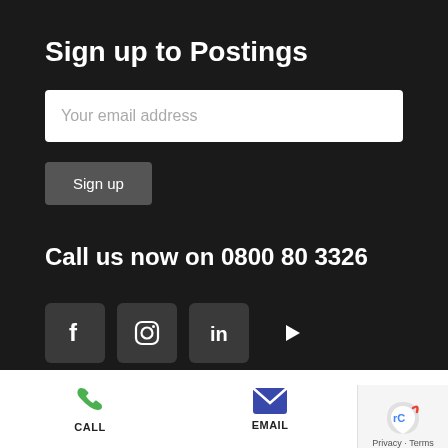Sign up to Postings
[Figure (screenshot): Email address input field with placeholder text 'Your email address']
[Figure (screenshot): Sign up button]
Call us now on 0800 80 3326
[Figure (infographic): Social media icons: Facebook, Instagram, LinkedIn, YouTube]
CALL  EMAIL  Privacy · Terms